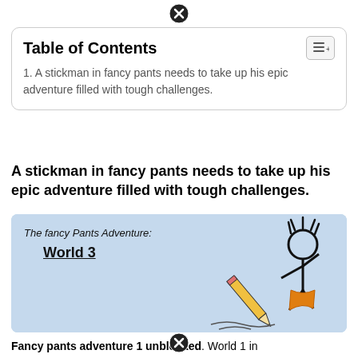Table of Contents
1. A stickman in fancy pants needs to take up his epic adventure filled with tough challenges.
A stickman in fancy pants needs to take up his epic adventure filled with tough challenges.
[Figure (illustration): Illustration of The Fancy Pants Adventure: World 3 title card, showing a stickman character with spiky hair wearing orange pants, holding a large pencil, drawing on the ground. Light blue background.]
Fancy pants adventure 1 unblocked. World 1 in